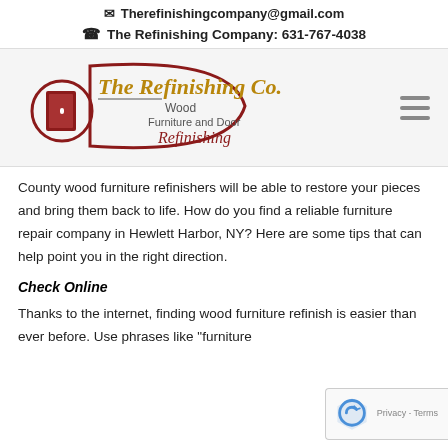✉ Therefinishingcompany@gmail.com
☎ The Refinishing Company: 631-767-4038
[Figure (logo): The Refinishing Co. Wood Furniture and Door Refinishing logo with a dark red door icon and decorative script text]
County wood furniture refinishers will be able to restore your pieces and bring them back to life. How do you find a reliable furniture repair company in Hewlett Harbor, NY? Here are some tips that can help point you in the right direction.
Check Online
Thanks to the internet, finding wood furniture refinish is easier than ever before. Use phrases like "furniture